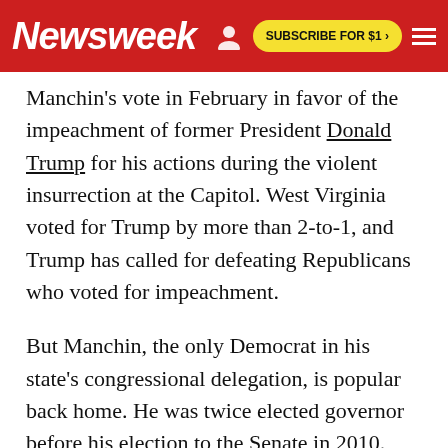Newsweek | SUBSCRIBE FOR $1 >
Manchin's vote in February in favor of the impeachment of former President Donald Trump for his actions during the violent insurrection at the Capitol. West Virginia voted for Trump by more than 2-to-1, and Trump has called for defeating Republicans who voted for impeachment.
But Manchin, the only Democrat in his state's congressional delegation, is popular back home. He was twice elected governor before his election to the Senate in 2010. He'll be up